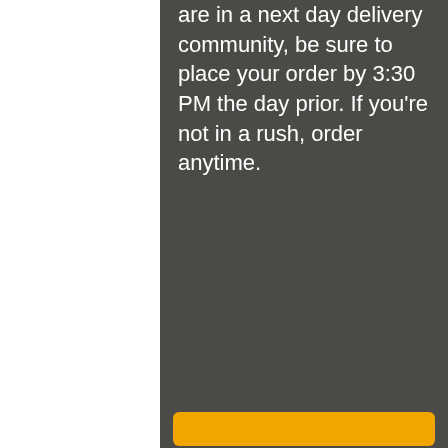are in a next day delivery community, be sure to place your order by 3:30 PM the day prior. If you're not in a rush, order anytime.
[Figure (other): Orange/yellow rounded rectangle button at the bottom of the dark panel]